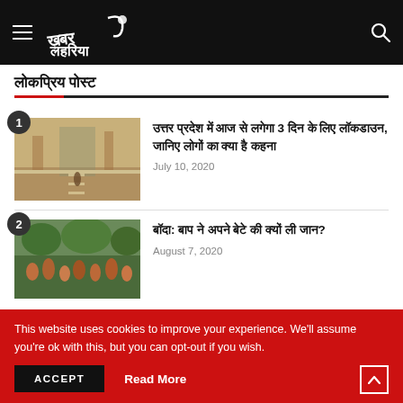Khabar Lahariya - navigation header with hamburger menu and search icon
लोकप्रिय पोस्ट
उत्तर प्रदेश में आज से लगेगा 3 दिन के लिए लॉकडाउन, जानिए लोगों का क्या है कहना — July 10, 2020
बॉदा: बाप ने अपने बेटे की क्यों ली जान? — August 7, 2020
This website uses cookies to improve your experience. We'll assume you're ok with this, but you can opt-out if you wish. ACCEPT  Read More